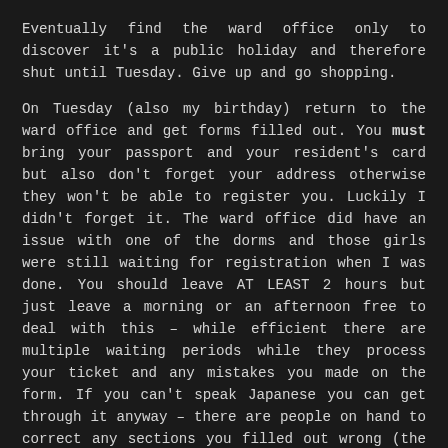Eventually find the ward office only to discover it's a public holiday and therefore shut until Tuesday. Give up and go shopping.
On Tuesday (also my birthday) return to the ward office and get forms filled out. You must bring your passport and your resident's card but also don't forget your address otherwise they won't be able to register you. Luckily I didn't forget it. The ward office did have an issue with one of the dorms and those girls were still waiting for registration when I was done. You should leave AT LEAST 2 hours but just leave a morning or an afternoon free to deal with this – while efficient there are multiple waiting periods while they process your ticket and any mistakes you made on the form. If you can't speak Japanese you can get through it anyway – there are people on hand to correct any sections you filled out wrong (the form is only available in Japanese) and they don't make you fill out a whole new one every time you make a mistake, they just cross it out and correct it.